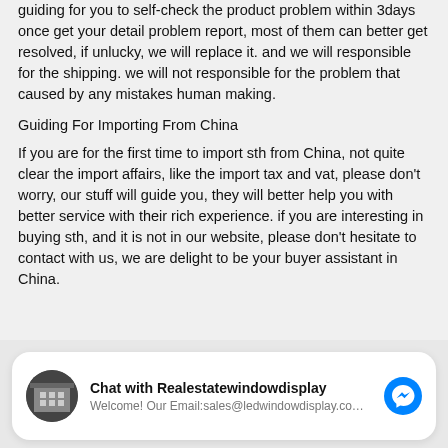guiding for you to self-check the product problem within 3days once get your detail problem report, most of them can better get resolved, if unlucky, we will replace it. and we will responsible for the shipping. we will not responsible for the problem that caused by any mistakes human making.
Guiding For Importing From China
If you are for the first time to import sth from China, not quite clear the import affairs, like the import tax and vat, please don't worry, our stuff will guide you, they will better help you with better service with their rich experience. if you are interesting in buying sth, and it is not in our website, please don't hesitate to contact with us, we are delight to be your buyer assistant in China.
[Figure (infographic): Facebook Messenger chat widget with avatar showing a building, bold title 'Chat with Realestatewindowdisplay', subtitle 'Welcome! Our Email:sales@ledwindowdisplay.co...' and a blue Messenger icon on the right.]